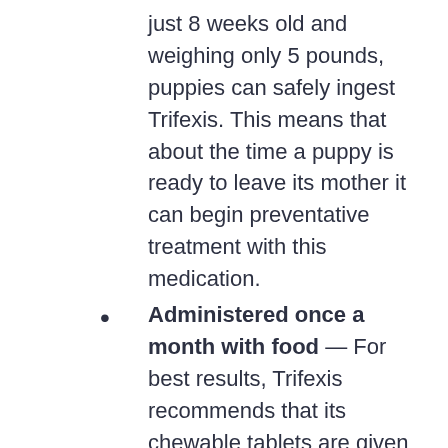just 8 weeks old and weighing only 5 pounds, puppies can safely ingest Trifexis. This means that about the time a puppy is ready to leave its mother it can begin preventative treatment with this medication.
Administered once a month with food — For best results, Trifexis recommends that its chewable tablets are given alongside food. Getting your dog to take them should not be an issue, as they are also designed to taste like a treat.
Available in 5 strengths — This medication should work for your dog